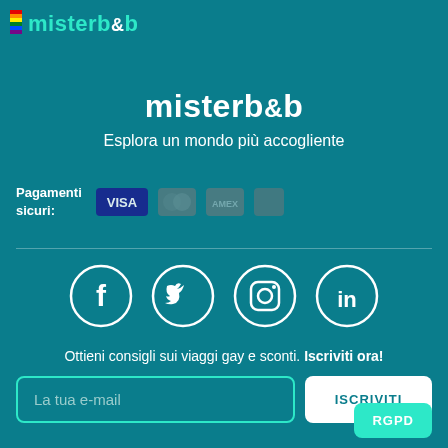[Figure (logo): misterb&b logo with rainbow stripe bars and teal text in top-left corner]
misterb&b
Esplora un mondo più accogliente
Pagamenti sicuri:
[Figure (illustration): Blurred payment provider icons: Visa, Mastercard, American Express, and another provider]
[Figure (illustration): Social media icons in circles: Facebook, Twitter, Instagram, LinkedIn]
Ottieni consigli sui viaggi gay e sconti. Iscriviti ora!
La tua e-mail
ISCRIVITI
RGPD